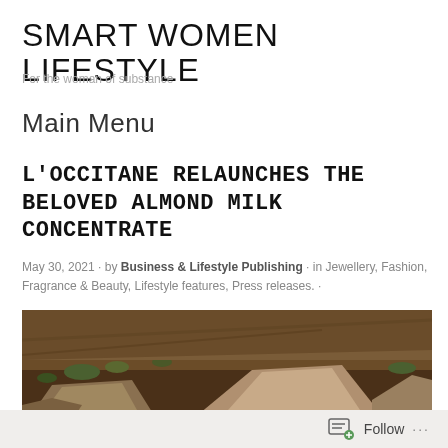SMART WOMEN LIFESTYLE
For the woman of substance
Main Menu
L'OCCITANE RELAUNCHES THE BELOVED ALMOND MILK CONCENTRATE
May 30, 2021 · by Business & Lifestyle Publishing · in Jewellery, Fashion, Fragrance & Beauty, Lifestyle features, Press releases. ·
[Figure (photo): Outdoor photograph showing large rough-hewn stones on earthy ground with scattered green vegetation, warm brown tones]
Follow ...